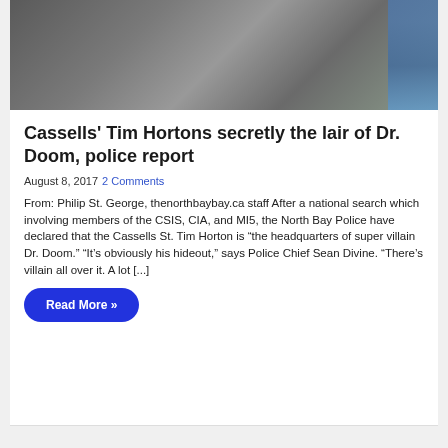[Figure (photo): A photo showing a figure in dark armor (Dr. Doom costume) with people in the background, including someone in a blue shirt on the right side.]
Cassells' Tim Hortons secretly the lair of Dr. Doom, police report
August 8, 2017 2 Comments
From: Philip St. George, thenorthbaybay.ca staff After a national search which involving members of the CSIS, CIA, and MI5, the North Bay Police have declared that the Cassells St. Tim Horton is “the headquarters of super villain Dr. Doom.” “It’s obviously his hideout,” says Police Chief Sean Divine. “There’s villain all over it. A lot [...]
Read More »